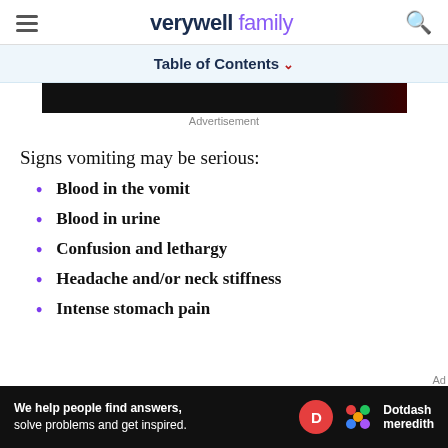verywell family
Table of Contents
[Figure (other): Advertisement banner (dark/black rectangle)]
Advertisement
Signs vomiting may be serious:
Blood in the vomit
Blood in urine
Confusion and lethargy
Headache and/or neck stiffness
Intense stomach pain
[Figure (other): Dotdash Meredith advertisement banner: 'We help people find answers, solve problems and get inspired.']